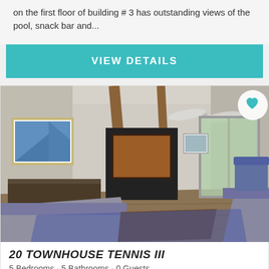on the first floor of building # 3 has outstanding views of the pool, snack bar and...
VIEW DETAILS
[Figure (photo): Interior living room of a vacation rental property with vaulted ceilings, wood beams, ceiling fan, TV entertainment center, blue sofas, large floor lamp, and sliding glass doors to outdoor patio.]
20 TOWNHOUSE TENNIS III
5 Bedrooms • 5 Bathrooms • 0 Guests